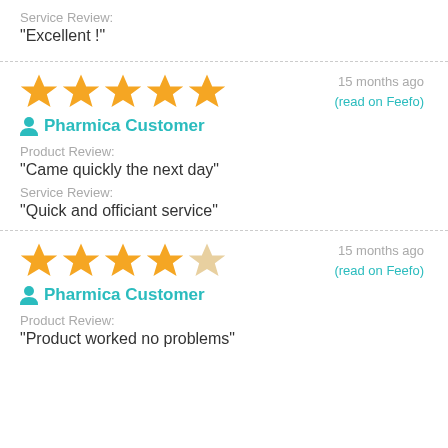Service Review:
"Excellent !"
15 months ago
(read on Feefo)
Pharmica Customer
Product Review:
"Came quickly the next day"
Service Review:
"Quick and officiant service"
15 months ago
(read on Feefo)
Pharmica Customer
Product Review:
"Product worked no problems"